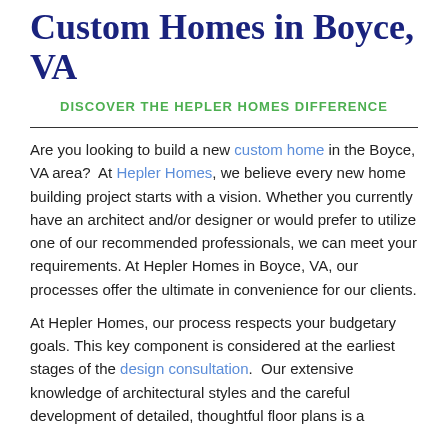Custom Homes in Boyce, VA
DISCOVER THE HEPLER HOMES DIFFERENCE
Are you looking to build a new custom home in the Boyce, VA area?  At Hepler Homes, we believe every new home building project starts with a vision. Whether you currently have an architect and/or designer or would prefer to utilize one of our recommended professionals, we can meet your requirements. At Hepler Homes in Boyce, VA, our processes offer the ultimate in convenience for our clients.
At Hepler Homes, our process respects your budgetary goals. This key component is considered at the earliest stages of the design consultation.  Our extensive knowledge of architectural styles and the careful development of detailed, thoughtful floor plans is a